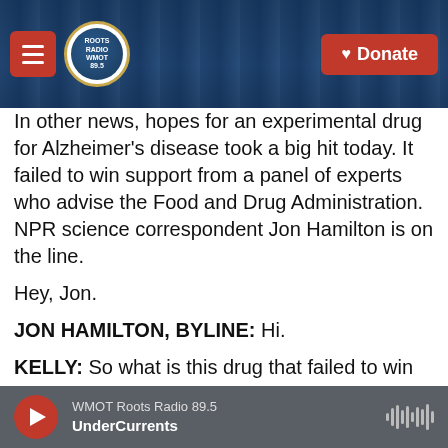[Figure (screenshot): Radio app header with hamburger menu, Roots Radio logo, and red Donate button on dark blue background with guitar imagery]
In other news, hopes for an experimental drug for Alzheimer's disease took a big hit today. It failed to win support from a panel of experts who advise the Food and Drug Administration. NPR science correspondent Jon Hamilton is on the line.
Hey, Jon.
JON HAMILTON, BYLINE: Hi.
KELLY: So what is this drug that failed to win support from our panel of experts?
HAMILTON: It's called aducanumab, and it's made
WMOT Roots Radio 89.5 UnderCurrents